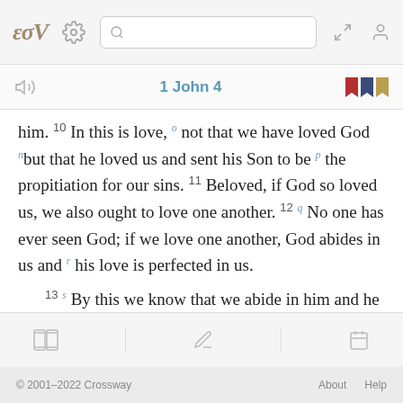ESV Bible app — top navigation bar with logo, settings, search, expand, and profile icons
1 John 4
him. 10 In this is love, a not that we have loved God n but that he loved us and sent his Son to be p the propitiation for our sins. 11 Beloved, if God so loved us, we also ought to love one another. 12 q No one has ever seen God; if we love one another, God abides in us and r his love is perfected in us. 13 s By this we know that we abide in him and he in us, because he has given us of his Spirit. 14 And t we have seen and testify that, u the Father has sent his
© 2001–2022 Crossway    About    Help